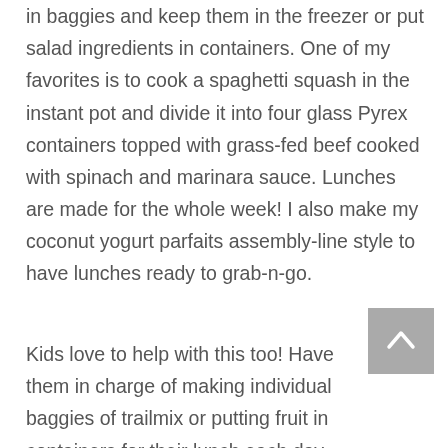in baggies and keep them in the freezer or put salad ingredients in containers. One of my favorites is to cook a spaghetti squash in the instant pot and divide it into four glass Pyrex containers topped with grass-fed beef cooked with spinach and marinara sauce. Lunches are made for the whole week! I also make my coconut yogurt parfaits assembly-line style to have lunches ready to grab-n-go.
Kids love to help with this too! Have them in charge of making individual baggies of trailmix or putting fruit in containers for their lunch each day. We often think meal prep has to take away from family time but you can invite your